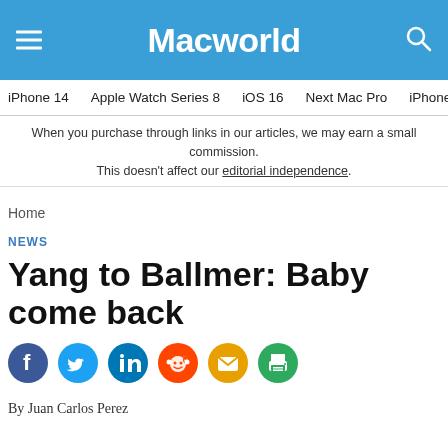Macworld
iPhone 14  Apple Watch Series 8  iOS 16  Next Mac Pro  iPhone d
When you purchase through links in our articles, we may earn a small commission. This doesn't affect our editorial independence.
Home
NEWS
Yang to Ballmer: Baby come back
[Figure (infographic): Social sharing icons: Facebook (blue), Twitter (light blue), LinkedIn (dark blue), Reddit (orange), Email (yellow), Print (green)]
By Juan Carlos Perez